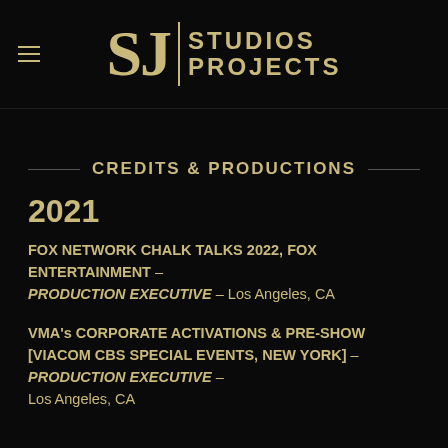SJ STUDIOS PROJECTS
CREDITS & PRODUCTIONS
2021
FOX NETWORK CHALK TALKS 2022, FOX ENTERTAINMENT – PRODUCTION EXECUTIVE – Los Angeles, CA
VMA's CORPORATE ACTIVATIONS & PRE-SHOW [VIACOM CBS SPECIAL EVENTS, NEW YORK] – PRODUCTION EXECUTIVE – Los Angeles, CA